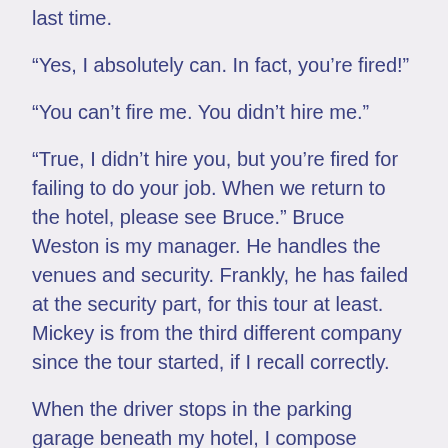last time.
“Yes, I absolutely can. In fact, you’re fired!”
“You can’t fire me. You didn’t hire me.”
“True, I didn’t hire you, but you’re fired for failing to do your job. When we return to the hotel, please see Bruce.” Bruce Weston is my manager. He handles the venues and security. Frankly, he has failed at the security part, for this tour at least. Mickey is from the third different company since the tour started, if I recall correctly.
When the driver stops in the parking garage beneath my hotel, I compose myself and step out of the car. I dutifully wave to the die-hard fans who have been camped out here since I arrived for this set of shows. These fans likely had